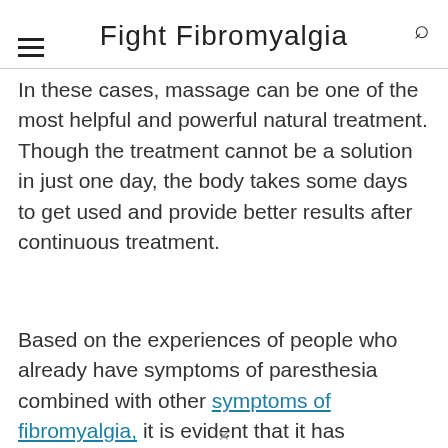Fight Fibromyalgia
In these cases, massage can be one of the most helpful and powerful natural treatment. Though the treatment cannot be a solution in just one day, the body takes some days to get used and provide better results after continuous treatment.
Based on the experiences of people who already have symptoms of paresthesia combined with other symptoms of fibromyalgia, it is evident that it has